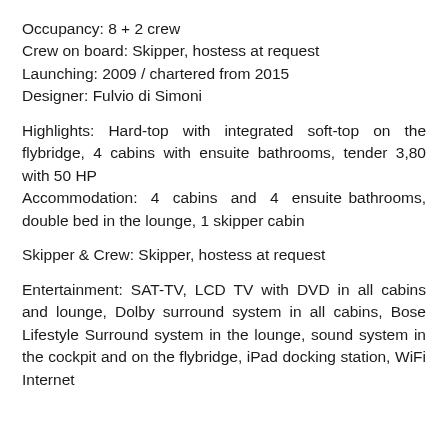Occupancy: 8 + 2 crew
Crew on board: Skipper, hostess at request
Launching: 2009 / chartered from 2015
Designer: Fulvio di Simoni
Highlights: Hard-top with integrated soft-top on the flybridge, 4 cabins with ensuite bathrooms, tender 3,80 with 50 HP
Accommodation: 4 cabins and 4 ensuite bathrooms, double bed in the lounge, 1 skipper cabin
Skipper & Crew: Skipper, hostess at request
Entertainment: SAT-TV, LCD TV with DVD in all cabins and lounge, Dolby surround system in all cabins, Bose Lifestyle Surround system in the lounge, sound system in the cockpit and on the flybridge, iPad docking station, WiFi Internet